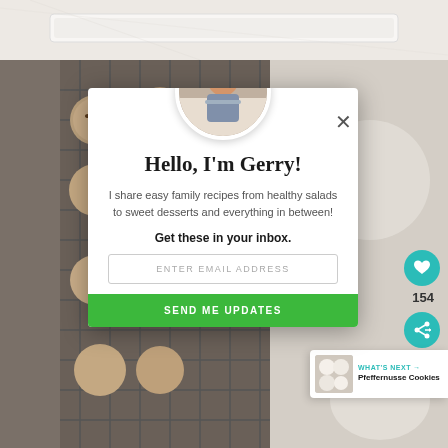[Figure (photo): White baking pan/dish against a light background, top strip photo]
[Figure (photo): Background photo of chocolate chip cookies on a cooling rack, dark/moody styling]
[Figure (photo): Modal popup with profile photo of Gerry (man in apron), newsletter signup dialog]
Hello, I'm Gerry!
I share easy family recipes from healthy salads to sweet desserts and everything in between!
Get these in your inbox.
ENTER EMAIL ADDRESS
SEND ME UPDATES
154
WHAT'S NEXT → Pfeffernusse Cookies